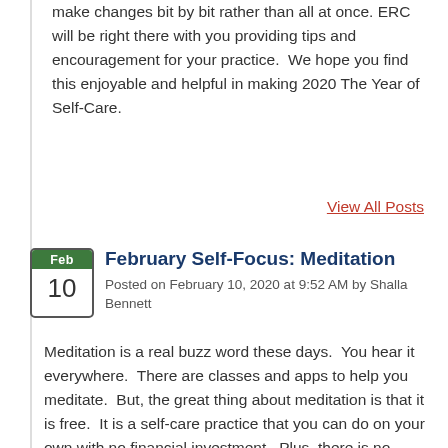make changes bit by bit rather than all at once. ERC will be right there with you providing tips and encouragement for your practice.  We hope you find this enjoyable and helpful in making 2020 The Year of Self-Care.
View All Posts
February Self-Focus: Meditation
Posted on February 10, 2020 at 9:52 AM by Shalla Bennett
Meditation is a real buzz word these days.  You hear it everywhere.  There are classes and apps to help you meditate.  But, the great thing about meditation is that it is free.  It is a self-care practice that you can do on your own with no financial investment.  Plus, there is no wrong way to meditate.  It's just a way of relaxing and